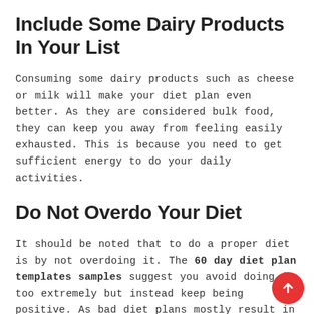Include Some Dairy Products In Your List
Consuming some dairy products such as cheese or milk will make your diet plan even better. As they are considered bulk food, they can keep you away from feeling easily exhausted. This is because you need to get sufficient energy to do your daily activities.
Do Not Overdo Your Diet
It should be noted that to do a proper diet is by not overdoing it. The 60 day diet plan templates samples suggest you avoid doing it too extremely but instead keep being positive. As bad diet plans mostly result in worse situations such as feeling so pressured and insecure about ourselves, thus a good diet plan should always make you feel only the good things about yourselves.